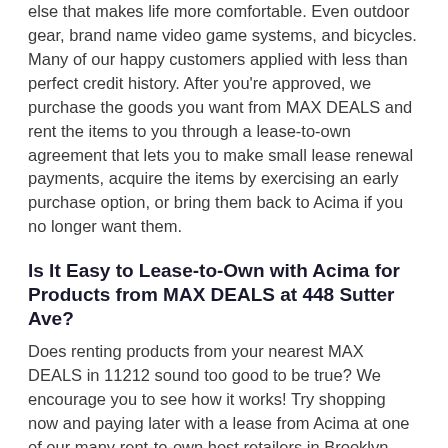else that makes life more comfortable. Even outdoor gear, brand name video game systems, and bicycles. Many of our happy customers applied with less than perfect credit history. After you're approved, we purchase the goods you want from MAX DEALS and rent the items to you through a lease-to-own agreement that lets you to make small lease renewal payments, acquire the items by exercising an early purchase option, or bring them back to Acima if you no longer want them.
Is It Easy to Lease-to-Own with Acima for Products from MAX DEALS at 448 Sutter Ave?
Does renting products from your nearest MAX DEALS in 11212 sound too good to be true? We encourage you to see how it works! Try shopping now and paying later with a lease from Acima at one of our many rent-to-own host retailers in Brooklyn, New York, including MAX DEALS.
Find local stores you trust and nationwide retailers you love in the 11212 area that offer Acima. Well, it's even a list of...